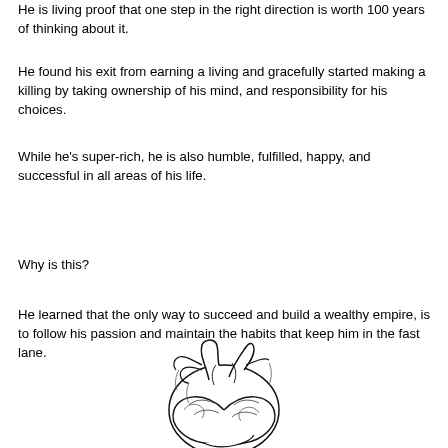He is living proof that one step in the right direction is worth 100 years of thinking about it.
He found his exit from earning a living and gracefully started making a killing by taking ownership of his mind, and responsibility for his choices.
While he's super-rich, he is also humble, fulfilled, happy, and successful in all areas of his life.
Why is this?
He learned that the only way to succeed and build a wealthy empire, is to follow his passion and maintain the habits that keep him in the fast lane.
[Figure (illustration): Black and white anatomical illustration of a human heart with detailed line art, partially visible at the bottom of the page.]